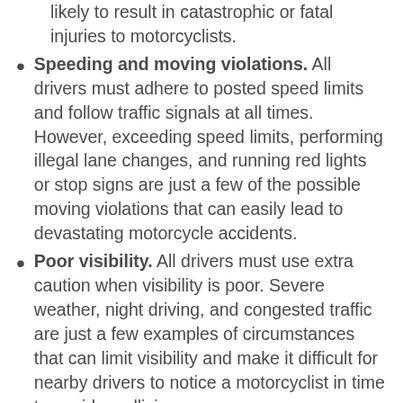likely to result in catastrophic or fatal injuries to motorcyclists.
Speeding and moving violations. All drivers must adhere to posted speed limits and follow traffic signals at all times. However, exceeding speed limits, performing illegal lane changes, and running red lights or stop signs are just a few of the possible moving violations that can easily lead to devastating motorcycle accidents.
Poor visibility. All drivers must use extra caution when visibility is poor. Severe weather, night driving, and congested traffic are just a few examples of circumstances that can limit visibility and make it difficult for nearby drivers to notice a motorcyclist in time to avoid a collision.
Vehicle or part malfunctions. Some motorcycle accidents occur because of defects in vehicles or vehicle parts. A product manufacturer can face a liability claim when a defective part results in